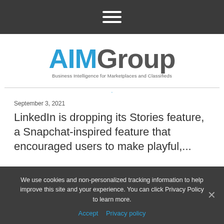Navigation menu (hamburger icon)
[Figure (logo): AIMGroup logo — 'AIM' in blue, 'Group' in gray, with tagline 'Business Intelligence for Marketplaces and Classifieds']
September 3, 2021
LinkedIn is dropping its Stories feature, a Snapchat-inspired feature that encouraged users to make playful,...
We use cookies and non-personalized tracking information to help improve this site and your experience. You can click Privacy Policy to learn more.